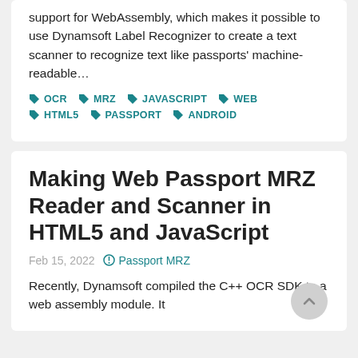support for WebAssembly, which makes it possible to use Dynamsoft Label Recognizer to create a text scanner to recognize text like passports' machine-readable…
OCR
MRZ
JAVASCRIPT
WEB
HTML5
PASSPORT
ANDROID
Making Web Passport MRZ Reader and Scanner in HTML5 and JavaScript
Feb 15, 2022   Passport MRZ
Recently, Dynamsoft compiled the C++ OCR SDK to a web assembly module. It